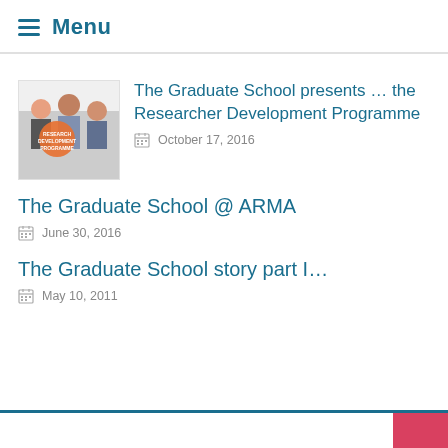Menu
The Graduate School presents … the Researcher Development Programme
October 17, 2016
The Graduate School @ ARMA
June 30, 2016
The Graduate School story part I…
May 10, 2011